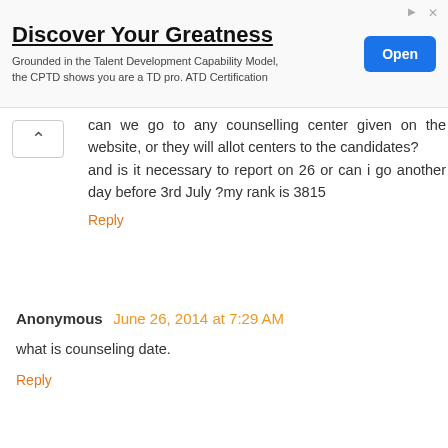[Figure (other): Advertisement banner: 'Discover Your Greatness' with 'Open' button]
can we go to any counselling center given on the website, or they will allot centers to the candidates? and is it necessary to report on 26 or can i go another day before 3rd July ?my rank is 3815
Reply
Anonymous June 26, 2014 at 7:29 AM
what is counseling date.
Reply
Unknown June 28, 2014 at 2:31 PM